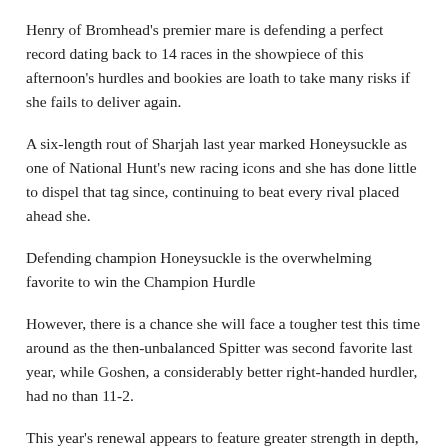Henry of Bromhead's premier mare is defending a perfect record dating back to 14 races in the showpiece of this afternoon's hurdles and bookies are loath to take many risks if she fails to deliver again.
A six-length rout of Sharjah last year marked Honeysuckle as one of National Hunt's new racing icons and she has done little to dispel that tag since, continuing to beat every rival placed ahead she.
Defending champion Honeysuckle is the overwhelming favorite to win the Champion Hurdle
However, there is a chance she will face a tougher test this time around as the then-unbalanced Spitter was second favorite last year, while Goshen, a considerably better right-handed hurdler, had no than 11-2.
This year's renewal appears to feature greater strength in depth,